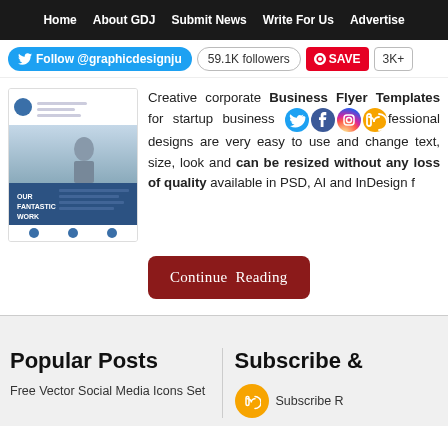Home  About GDJ  Submit News  Write For Us  Advertise
Follow @graphicdesignju  59.1K followers  SAVE  3K+
[Figure (illustration): Corporate business flyer template preview showing a professional blue and white layout with photo and logo]
Creative corporate Business Flyer Templates for startup business or individuals. Professional designs are very easy to use and change text, size, look and can be resized without any loss of quality available in PSD, AI and InDesign fo
Continue Reading
Popular Posts
Free Vector Social Media Icons Set
Subscribe &
Subscribe R